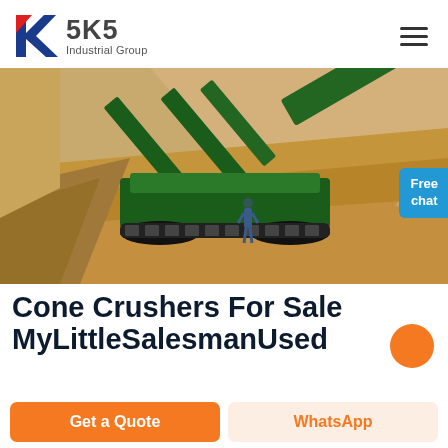[Figure (logo): SKS Industrial Group logo with stylized K in red and blue, text SKS Industrial Group]
[Figure (photo): A large green mobile screening/crushing machine operating in a sand and gravel quarry site, with a worker visible and large sandy mounds in the background. A chat assistant icon and Free chat badge visible at right.]
Cone Crushers For Sale MyLittleSalesmanUsed
[Figure (other): Orange circular button partially visible]
Get a Quote
WhatsApp